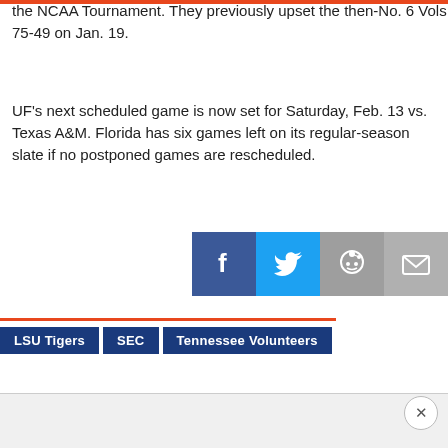the NCAA Tournament. They previously upset the then-No. 6 Vols 75-49 on Jan. 19.
UF's next scheduled game is now set for Saturday, Feb. 13 vs. Texas A&M. Florida has six games left on its regular-season slate if no postponed games are rescheduled.
[Figure (other): Social share icons: Facebook (blue), Twitter (light blue), Reddit (gray), Email (gray)]
LSU Tigers
SEC
Tennessee Volunteers